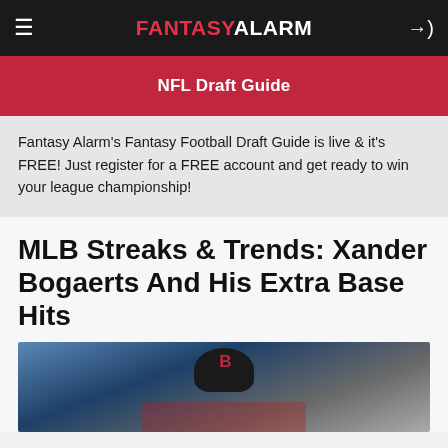FANTASY ALARM
NFL Draft Guide
Fantasy Alarm's Fantasy Football Draft Guide is live & it's FREE! Just register for a FREE account and get ready to win your league championship!
MLB Streaks & Trends: Xander Bogaerts And His Extra Base Hits
[Figure (photo): Photo of Xander Bogaerts in a Red Sox batting helmet, partially cropped at bottom of page]